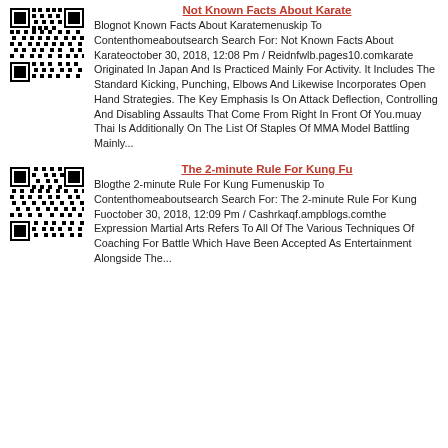[Figure (other): QR code image for Not Known Facts About Karate]
Not Known Facts About Karate
Blognot Known Facts About Karatemenuskip To Contenthomeaboutsearch Search For: Not Known Facts About Karateoctober 30, 2018, 12:08 Pm / Reidnfwlb.pages10.comkarate Originated In Japan And Is Practiced Mainly For Activity. It Includes The Standard Kicking, Punching, Elbows And Likewise Incorporates Open Hand Strategies. The Key Emphasis Is On Attack Deflection, Controlling And Disabling Assaults That Come From Right In Front Of You.muay Thai Is Additionally On The List Of Staples Of MMA Model Battling Mainly...
[Figure (other): QR code image for The 2-minute Rule For Kung Fu]
The 2-minute Rule For Kung Fu
Blogthe 2-minute Rule For Kung Fumenuskip To Contenthomeaboutsearch Search For: The 2-minute Rule For Kung Fuoctober 30, 2018, 12:09 Pm / Cashrkaqf.ampblogs.comthe Expression Martial Arts Refers To All Of The Various Techniques Of Coaching For Battle Which Have Been Accepted As Entertainment Alongside The...